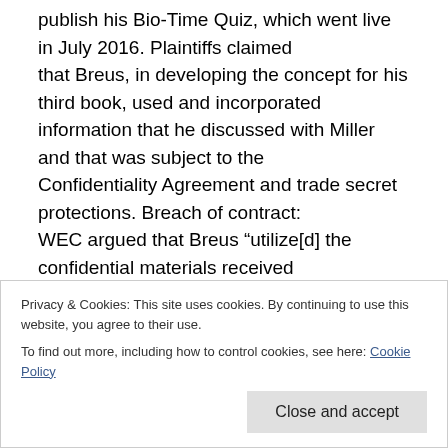publish his Bio-Time Quiz, which went live in July 2016. Plaintiffs claimed that Breus, in developing the concept for his third book, used and incorporated information that he discussed with Miller and that was subject to the Confidentiality Agreement and trade secret protections. Breach of contract: WEC argued that Breus “utilize[d] the confidential materials received
Privacy & Cookies: This site uses cookies. By continuing to use this website, you agree to their use. To find out more, including how to control cookies, see here: Cookie Policy
attorney “considered that